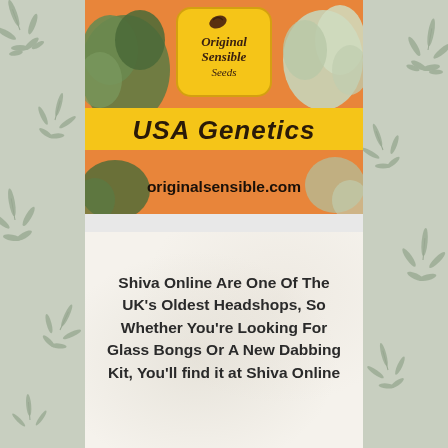[Figure (illustration): Original Sensible Seeds advertisement banner. Orange and yellow background with cannabis plant photos. Logo reads 'Original Sensible Seeds' in a rounded rectangle. Text reads 'USA Genetics' in bold dark font on yellow banner, and 'originalsensible.com' in dark text on orange banner at bottom.]
[Figure (illustration): Shiva Online advertisement box with off-white/cream mottled background.]
Shiva Online Are One Of The UK's Oldest Headshops, So Whether You're Looking For Glass Bongs Or A New Dabbing Kit, You'll find it at Shiva Online